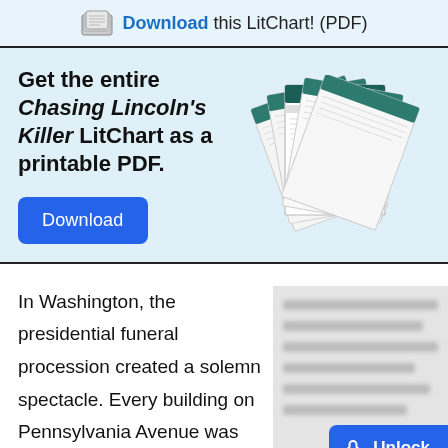Download this LitChart! (PDF)
Get the entire Chasing Lincoln’s Killer LitChart as a printable PDF.
Download
[Figure (illustration): Fan of multiple printed LitChart pages for Chasing Lincoln’s Killer]
In Washington, the presidential funeral procession created a solemn spectacle. Every building on Pennsylvania Avenue was wrapped in
[Figure (other): Blurred/locked text content area with Unlock button]
Unlock